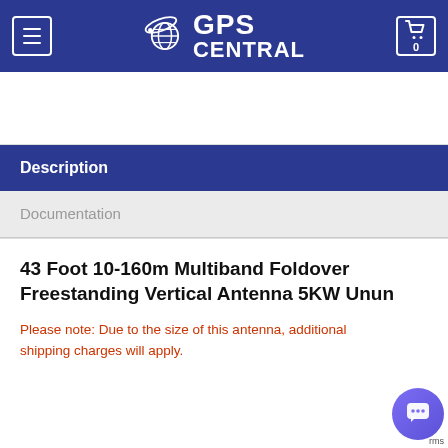GPS Central
Description
Documentation
43 Foot 10-160m Multiband Foldover Freestanding Vertical Antenna 5KW Unun
Please note: Due to the size of this antenna, additional shipping charges will apply.